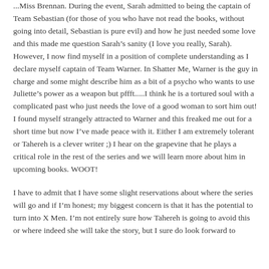...Miss Brennan. During the event, Sarah admitted to being the captain of Team Sebastian (for those of you who have not read the books, without going into detail, Sebastian is pure evil) and how he just needed some love and this made me question Sarah's sanity (I love you really, Sarah). However, I now find myself in a position of complete understanding as I declare myself captain of Team Warner. In Shatter Me, Warner is the guy in charge and some might describe him as a bit of a psycho who wants to use Juliette's power as a weapon but pffft.....I think he is a tortured soul with a complicated past who just needs the love of a good woman to sort him out! I found myself strangely attracted to Warner and this freaked me out for a short time but now I've made peace with it. Either I am extremely tolerant or Tahereh is a clever writer ;) I hear on the grapevine that he plays a critical role in the rest of the series and we will learn more about him in upcoming books. WOOT!
I have to admit that I have some slight reservations about where the series will go and if I'm honest; my biggest concern is that it has the potential to turn into X Men. I'm not entirely sure how Tahereh is going to avoid this or where indeed she will take the story, but I sure do look forward to